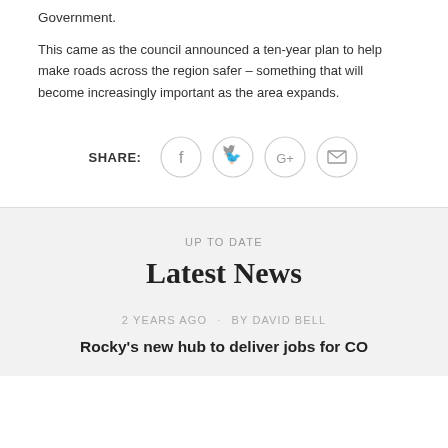Government.
This came as the council announced a ten-year plan to help make roads across the region safer – something that will become increasingly important as the area expands.
[Figure (infographic): Share buttons row: SHARE label followed by four circular icon buttons for Facebook, Twitter, Google+, and Email]
UP TO DATE
Latest News
2 YEARS AGO · BY DAVID BELL
Rocky's new hub to deliver jobs for CO